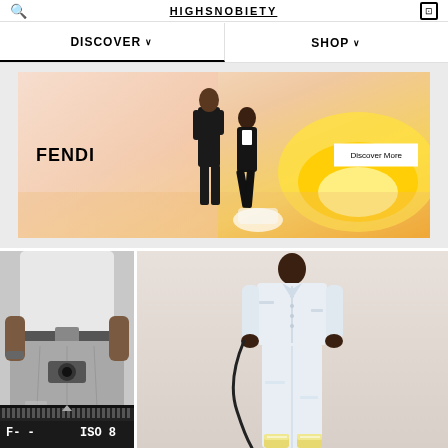HIGHSNOBIETY
DISCOVER  SHOP
[Figure (photo): Fendi fashion advertisement banner showing two male models in tuxedos against a warm golden/orange gradient background, with FENDI brand logo on left and 'Discover More' button on right]
[Figure (photo): Black and white fashion photo showing lower body of person in jeans with hands on belt, with camera data strip overlay showing F stop and ISO 8 values]
[Figure (photo): Color fashion photo of a Black male model wearing all-white distressed denim jacket and pants with white sneakers, holding a black cord/cable, against light beige background]